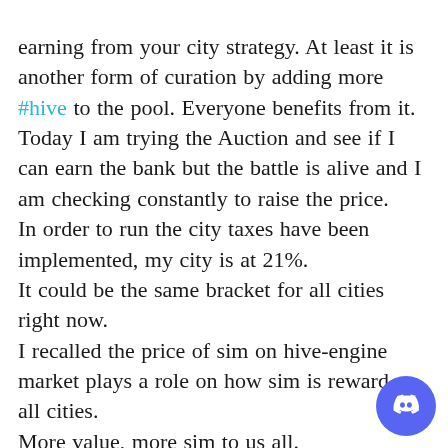earning from your city strategy. At least it is another form of curation by adding more #hive to the pool. Everyone benefits from it. Today I am trying the Auction and see if I can earn the bank but the battle is alive and I am checking constantly to raise the price.
In order to run the city taxes have been implemented, my city is at 21%.
It could be the same bracket for all cities right now.
I recalled the price of sim on hive-engine market plays a role on how sim is reward on all cities.
More value, more sim to us all.
If sim is losing value on the market less sim distributed.
Not sure how the president gets the taxes.
When you fully scope the mannerism of any city the number of cards only help with the #hive reward
IF you have a lot of basic home card and no
[Figure (logo): Discord logo badge - purple circle with white Discord controller icon]